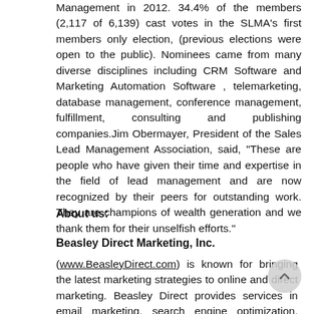Management in 2012. 34.4% of the members (2,117 of 6,139) cast votes in the SLMA's first members only election, (previous elections were open to the public). Nominees came from many diverse disciplines including CRM Software and Marketing Automation Software , telemarketing, database management, conference management, fulfillment, consulting and publishing companies.Jim Obermayer, President of the Sales Lead Management Association, said, "These are people who have given their time and expertise in the field of lead management and are now recognized by their peers for outstanding work. They are champions of wealth generation and we thank them for their unselfish efforts."
About us:
Beasley Direct Marketing, Inc. (www.BeasleyDirect.com) is known for bringing the latest marketing strategies to online and direct marketing. Beasley Direct provides services in email marketing, search engine optimization, social media, pay per click